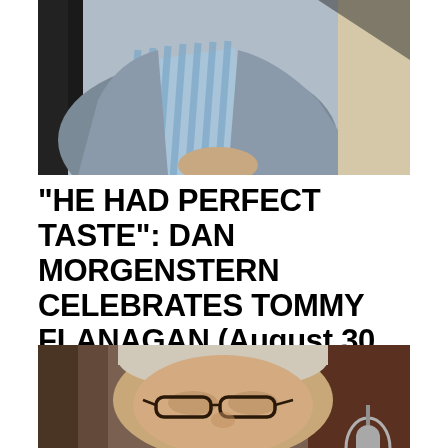[Figure (photo): Close-up photo of a person in a grey blazer and blue striped shirt, partially cropped, with a microphone visible at top left]
“HE HAD PERFECT TASTE”: DAN MORGENSTERN CELEBRATES TOMMY FLANAGAN (August 30, 2019)
[Figure (photo): Close-up portrait photo of an elderly man with white/grey hair, wearing dark-rimmed glasses, with a silver microphone visible at bottom right]